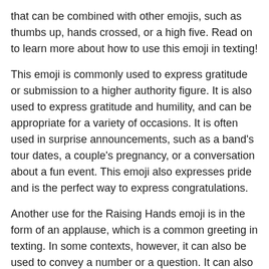that can be combined with other emojis, such as thumbs up, hands crossed, or a high five. Read on to learn more about how to use this emoji in texting!
This emoji is commonly used to express gratitude or submission to a higher authority figure. It is also used to express gratitude and humility, and can be appropriate for a variety of occasions. It is often used in surprise announcements, such as a band's tour dates, a couple's pregnancy, or a conversation about a fun event. This emoji also expresses pride and is the perfect way to express congratulations.
Another use for the Raising Hands emoji is in the form of an applause, which is a common greeting in texting. In some contexts, however, it can also be used to convey a number or a question. It can also be used to indicate sarcasm, as well. Raising your hand in this way indicates that you're saying something you agree with or disagree with.